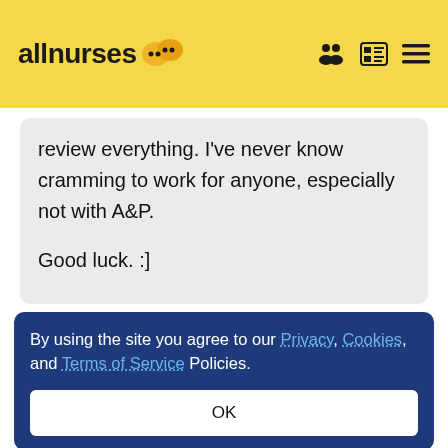allnurses
review everything. I've never know cramming to work for anyone, especially not with A&P.

Good luck. :]
By using the site you agree to our Privacy, Cookies, and Terms of Service Policies.
OK